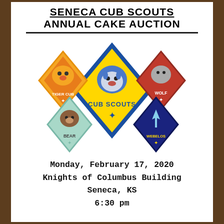SENECA CUB SCOUTS ANNUAL CAKE AUCTION
[Figure (illustration): Cub Scouts logo badges: large central yellow diamond with blue border showing a wolf face and 'CUB SCOUTS' text; surrounded by four smaller diamonds: Tiger Cub (orange/yellow), Wolf (red), Bear (teal/light blue), Webelos (dark navy blue)]
Monday, February 17, 2020
Knights of Columbus Building
Seneca, KS
6:30 pm